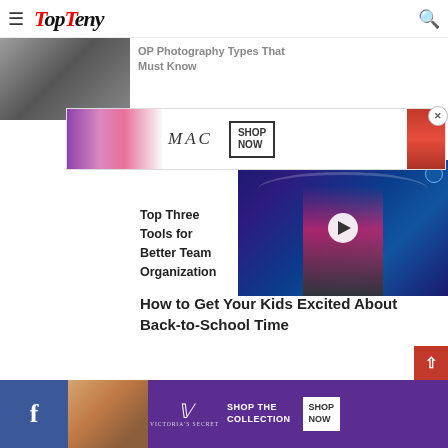TopTeny — navigation header with hamburger menu and search icon
[Figure (screenshot): Partial article image top left, grayscale photo]
OP Photography Types That Must Know
[Figure (photo): MAC cosmetics advertisement banner with lipsticks and SHOP NOW button]
The World 2022
[Figure (screenshot): Video overlay thumbnail showing person with arms raised on dark blue background with play button]
Top Three Tools for Better Team Organization
How to Get Your Kids Excited About Back-to-School Time
[Figure (photo): Partial photo of woman with curly hair]
The 3 Best Ways To Reduce Y...
[Figure (photo): Victoria's Secret advertisement banner with purple background, SHOP THE COLLECTION, SHOP NOW]
Facebook social icon bar | CLOSE button overlay